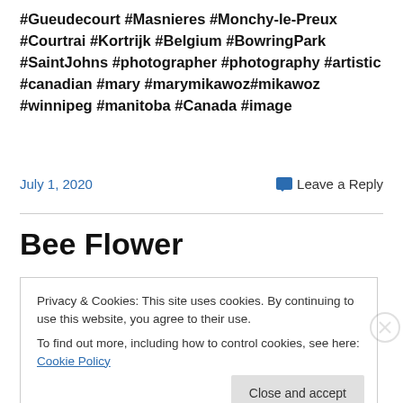#Gueudecourt #Masnieres #Monchy-le-Preux #Courtrai #Kortrijk #Belgium #BowringPark #SaintJohns #photographer #photography #artistic #canadian #mary #marymikawoz#mikawoz #winnipeg #manitoba #Canada #image
July 1, 2020
Leave a Reply
Bee Flower
Privacy & Cookies: This site uses cookies. By continuing to use this website, you agree to their use.
To find out more, including how to control cookies, see here: Cookie Policy